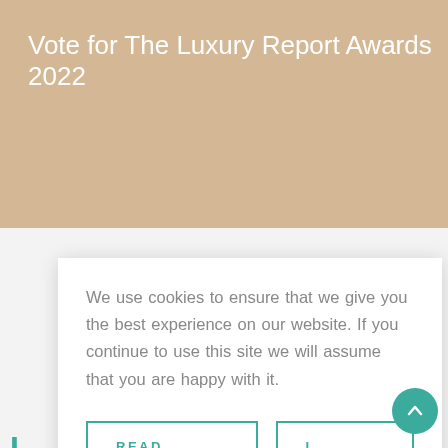Vote for The Luxury Report Awards 2022
We use cookies to ensure that we give you the best experience on our website. If you continue to use this site we will assume that you are happy with it.
READ MORE..
I ACCEPT
The Luxury Re... @TheLuxury... · Sep 1
Replying to @TheLuxuryRep
#tomastenko #ellennash #artexhibitions #
#ScolettadeiBattioroeTiraoro
#FragileAngelArtExhibition
#LauraTheMuseofLoveArtExhibition
#QatarInternationalArtFestival
#awardwinningart #fashiondesigner